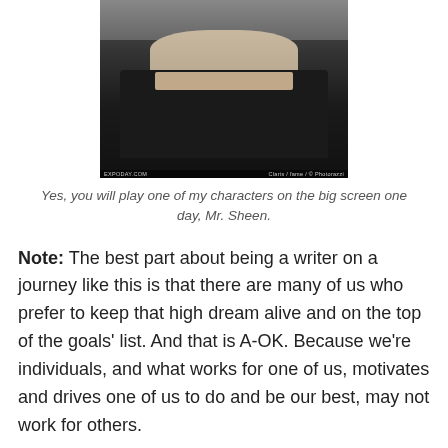[Figure (photo): Photo of a man wearing a black shirt and necklace, cropped to show neck and chin area. Photo credit text visible at bottom: 'EXPODAY.COM' and 'Claris / fame / © Photorazzi']
Yes, you will play one of my characters on the big screen one day, Mr. Sheen.
Note: The best part about being a writer on a journey like this is that there are many of us who prefer to keep that high dream alive and on the top of the goals' list. And that is A-OK. Because we're individuals, and what works for one of us, motivates and drives one of us to do and be our best, may not work for others.